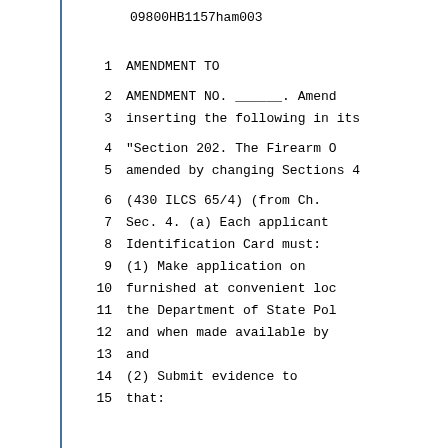09800HB1157ham003
1      AMENDMENT TO
2      AMENDMENT NO. ______. Amend
3  inserting the following in its
4      "Section 202. The Firearm O
5  amended by changing Sections 4
6      (430 ILCS 65/4)  (from Ch.
7      Sec. 4. (a) Each applicant
8  Identification Card must:
9      (1) Make application on
10  furnished at convenient loc
11  the Department of State Pol
12  and when made available by
13  and
14      (2) Submit evidence to
15  that: